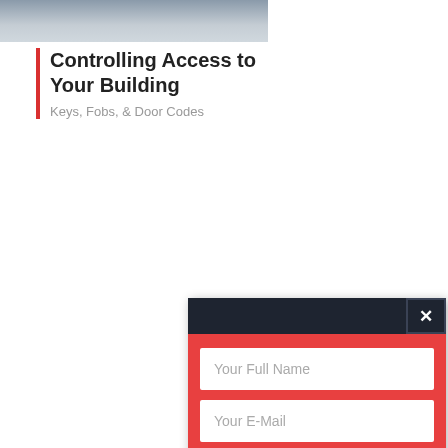[Figure (photo): Partial photo of a person's hand near a door or building access panel, cropped at top of page.]
Controlling Access to Your Building
Keys, Fobs, & Door Codes
[Figure (screenshot): Newsletter subscription modal popup with dark header and close button (×), red background body containing 'Your Full Name' text field, 'Your E-Mail' text field, and 'SUBSCRIBE TO NEWSLETTER' button in dark navy. An accessibility (wheelchair person) icon button appears at bottom right.]